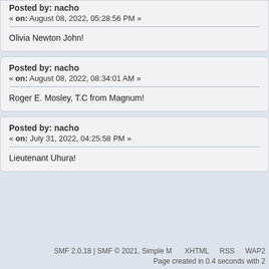Posted by: nacho
« on: August 08, 2022, 05:28:56 PM »
Olivia Newton John!
Posted by: nacho
« on: August 08, 2022, 08:34:01 AM »
Roger E. Mosley, T.C from Magnum!
Posted by: nacho
« on: July 31, 2022, 04:25:58 PM »
Lieutenant Uhura!
SMF 2.0.18 | SMF © 2021, Simple M
XHTML   RSS   WAP2
Page created in 0.4 seconds with 2